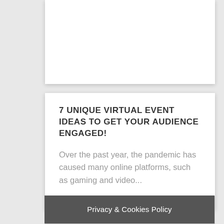7 UNIQUE VIRTUAL EVENT IDEAS TO GET YOUR AUDIENCE ENGAGED!
Over the past year, the pandemic has caused many online platforms, such as gaming and video...
Privacy & Cookies Policy